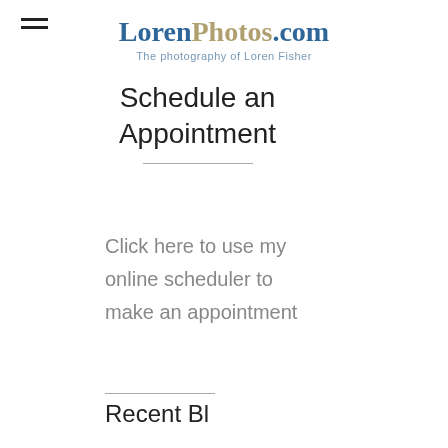LorenPhotos.com — The photography of Loren Fisher
Schedule an Appointment
Click here to use my online scheduler to make an appointment
Recent Bl...